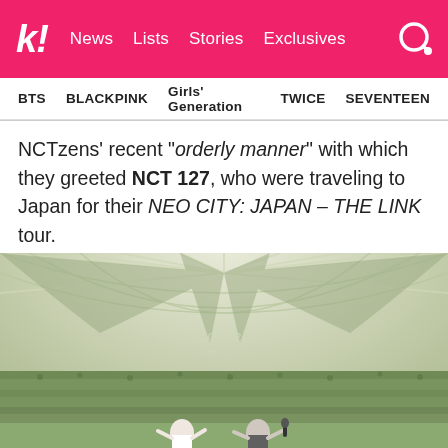k! News Lists Stories Exclusives
BTS BLACKPINK Girls' Generation TWICE SEVENTEEN
NCTzens' recent “orderly manner” with which they greeted NCT 127, who were traveling to Japan for their NEO CITY: JAPAN – THE LINK tour.
[Figure (photo): Wide-angle interior shot of a large domed stadium filled with a green-tinted crowd, taken from the stage. An NCT 127 / THE LINK logo is projected on the ceiling. Two staff members are visible in the foreground.]